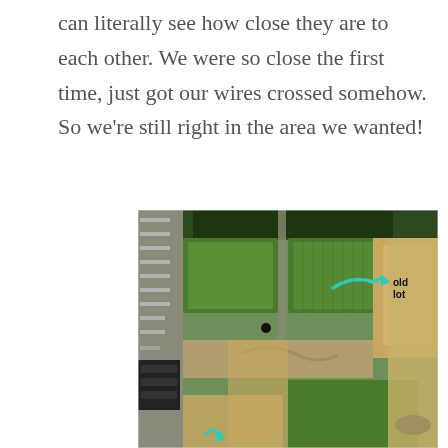can literally see how close they are to each other. We were so close the first time, just got our wires crossed somehow. So we're still right in the area we wanted!
[Figure (photo): Aerial/satellite view of a land parcel showing green agricultural fields, a road under development, and sandy/cleared lots. A cyan arrow annotation points to an area labeled 'old lot' in the upper right portion of the image. Another partial cyan arrow is visible at the bottom.]